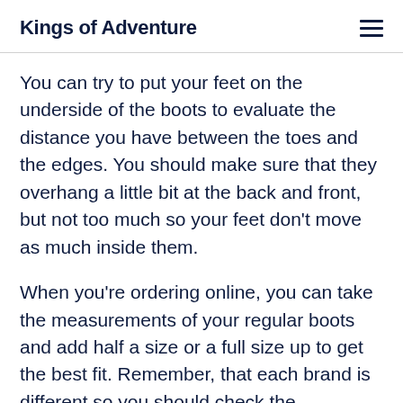Kings of Adventure
You can try to put your feet on the underside of the boots to evaluate the distance you have between the toes and the edges. You should make sure that they overhang a little bit at the back and front, but not too much so your feet don't move as much inside them.
When you're ordering online, you can take the measurements of your regular boots and add half a size or a full size up to get the best fit. Remember, that each brand is different so you should check the